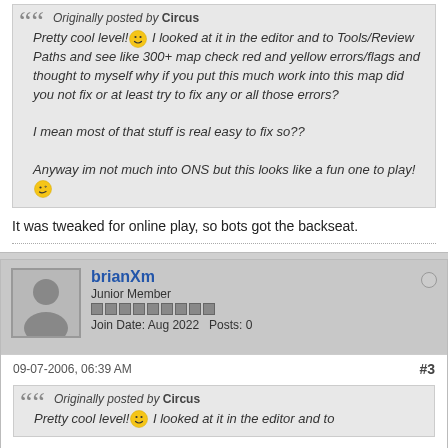Originally posted by Circus
Pretty cool level! I looked at it in the editor and to Tools/Review Paths and see like 300+ map check red and yellow errors/flags and thought to myself why if you put this much work into this map did you not fix or at least try to fix any or all those errors?

I mean most of that stuff is real easy to fix so??

Anyway im not much into ONS but this looks like a fun one to play!
It was tweaked for online play, so bots got the backseat.
brianXm
Junior Member
Join Date: Aug 2022  Posts: 0
09-07-2006, 06:39 AM
#3
Originally posted by Circus
Pretty cool level! I looked at it in the editor and to